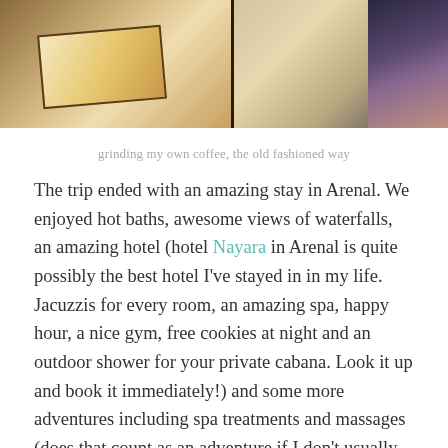[Figure (photo): Photo strip showing two images: left side shows a wooden door frame with warm golden light and tiled floor; right side shows a person wearing a colorful patterned garment.]
grinding my own coffee, the old fashioned way
The trip ended with an amazing stay in Arenal. We enjoyed hot baths, awesome views of waterfalls, an amazing hotel (hotel Nayara in Arenal is quite possibly the best hotel I've stayed in in my life. Jacuzzis for every room, an amazing spa, happy hour, a nice gym, free cookies at night and an outdoor shower for your private cabana. Look it up and book it immediately!) and some more adventures including spa treatments and massages (does that count as an adventure if I don't usually do that?) AND canyoneering, rappelling and swinging through waterfalls in the jungle, quite literally.